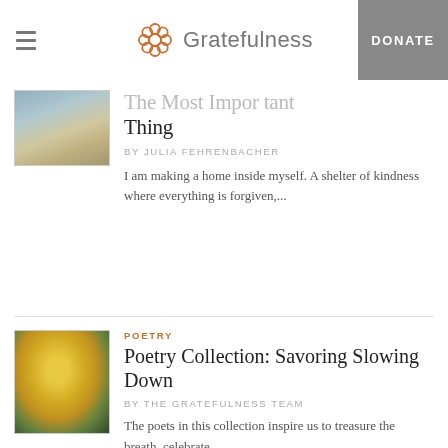Gratefulness — DONATE
The Most Important Thing
BY JULIA FEHRENBACHER
I am making a home inside myself. A shelter of kindness where everything is forgiven,...
POETRY
Poetry Collection: Savoring Slowing Down
BY THE GRATEFULNESS TEAM
The poets in this collection inspire us to treasure the breath, celebrate